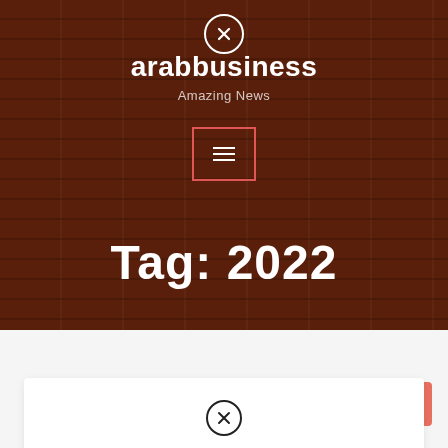[Figure (screenshot): Website header with dark wood-grain textured background showing the arabbusiness logo with an X-circle icon above it, the tagline 'Amazing News', a hamburger menu button with red border, and a large 'Tag: 2022' heading in white bold text.]
arabbusiness
Amazing News
Tag: 2022